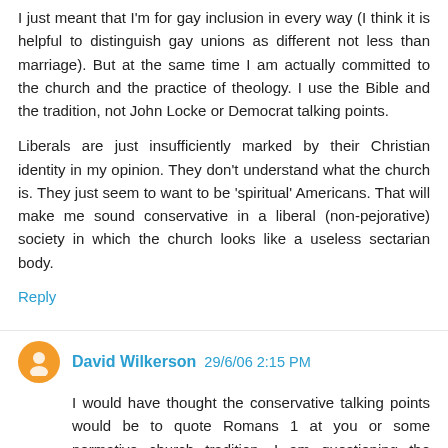I just meant that I'm for gay inclusion in every way (I think it is helpful to distinguish gay unions as different not less than marriage). But at the same time I am actually committed to the church and the practice of theology. I use the Bible and the tradition, not John Locke or Democrat talking points.
Liberals are just insufficiently marked by their Christian identity in my opinion. They don't understand what the church is. They just seem to want to be 'spiritual' Americans. That will make me sound conservative in a liberal (non-pejorative) society in which the church looks like a useless sectarian body.
Reply
David Wilkerson 29/6/06 2:15 PM
I would have thought the conservative talking points would be to quote Romans 1 at you or some normative church tradition. I am questioning the grammar of the argument,